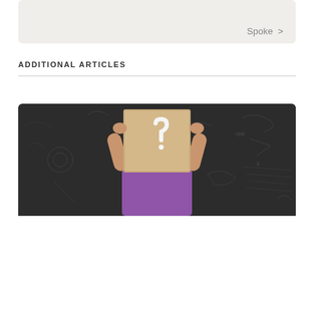Spoke >
ADDITIONAL ARTICLES
[Figure (photo): Person holding a cardboard sign with a question mark in front of their face, standing in front of a dark chalkboard covered in chalk drawings and formulas, wearing a purple shirt.]
Three Ways to Frame Your Child's Identity
All of us come into the world with a set of genetic features that determine or at least